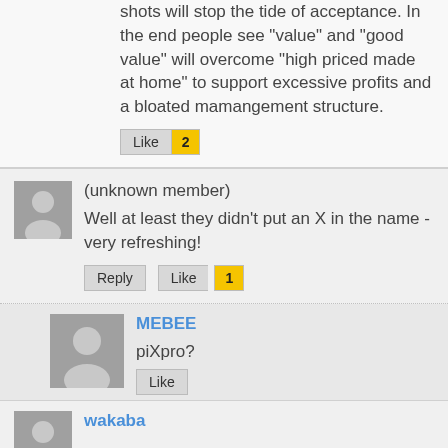shots will stop the tide of acceptance. In the end people see "value" and "good value" will overcome "high priced made at home" to support excessive profits and a bloated mamangement structure.
Like 2
(unknown member)
Well at least they didn't put an X in the name - very refreshing!
Reply Like 1
MEBEE
piXpro?
Like
wakaba